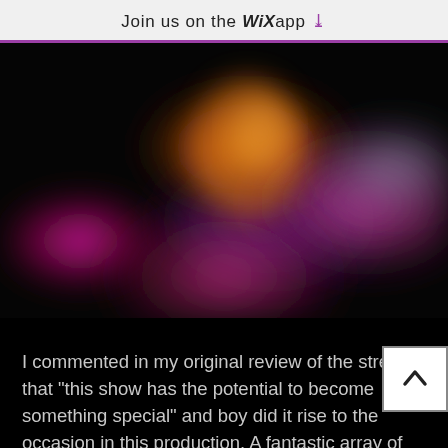Join us on the WiX app ↓
[Figure (photo): Blurred concert/performance photo with colorful stage lighting — purples, pinks, oranges on a dark background. Central figure glowing in orange/gold light surrounded by blurred audience or performers in pink/purple hues.]
I commented in my original review of the stream that "this show has the potential to become something special" and boy did it rise to the occasion in this production. A fantastic array of songs performed flawlessly by a group of some of the